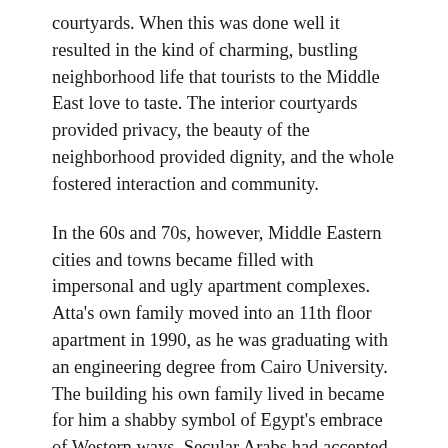courtyards. When this was done well it resulted in the kind of charming, bustling neighborhood life that tourists to the Middle East love to taste. The interior courtyards provided privacy, the beauty of the neighborhood provided dignity, and the whole fostered interaction and community.
In the 60s and 70s, however, Middle Eastern cities and towns became filled with impersonal and ugly apartment complexes. Atta's own family moved into an 11th floor apartment in 1990, as he was graduating with an engineering degree from Cairo University. The building his own family lived in became for him a shabby symbol of Egypt's embrace of Western ways. Secular Arabs had accepted the negative trappings of the modern world without attaining its wealth and freedom.
Atta began to study ways to reverse the situation and restore the old glories of Islam. A major opportunity came when his father decided to send him to engineering school at Hamburg Technical University in Germany. There he pursued a degree